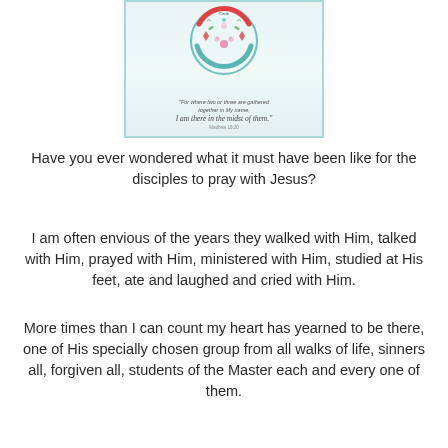[Figure (illustration): A decorative embroidered-style circular design with floral patterns, birds, and folk art motifs in red, teal, and pink. Contains a scripture quote: 'For where two or three are gathered together in My name, I am there in the midst of them.' Matthew 18:20. Framed with a light teal border.]
Have you ever wondered what it must have been like for the disciples to pray with Jesus?
I am often envious of the years they walked with Him, talked with Him, prayed with Him, ministered with Him, studied at His feet, ate and laughed and cried with Him.
More times than I can count my heart has yearned to be there, one of His specially chosen group from all walks of life, sinners all, forgiven all, students of the Master each and every one of them.